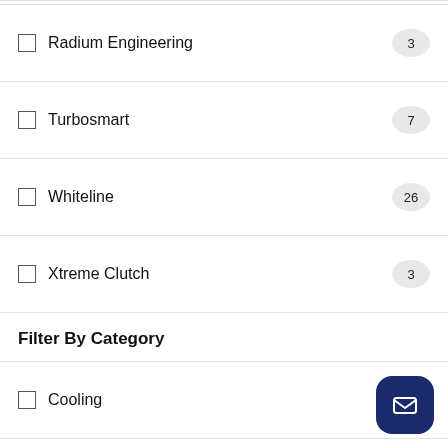Radium Engineering 3
Turbosmart 7
Whiteline 26
Xtreme Clutch 3
Filter By Category
Cooling 4
Header | Overflow | Expansion Tanks 2
Radiator Caps
Radiators